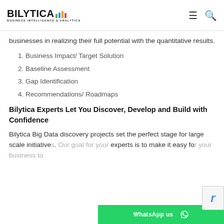BILYTICA — BUSINESS INTELLIGENCE & ANALYTICS
businesses in realizing their full potential with the quantitative results.
1. Business Impact/ Target Solution
2. Baseline Assessment
3. Gap Identification
4. Recommendations/ Roadmaps
Bilytica Experts Let You Discover, Develop and Build with Confidence
Bilytica Big Data discovery projects set the perfect stage for large scale initiatives. Our goal for your experts is to make it easy for your business to